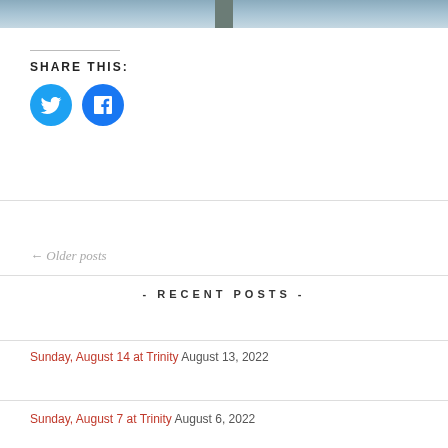[Figure (photo): Partial photo strip at top showing water/dock scene]
SHARE THIS:
[Figure (illustration): Twitter bird icon (blue circle) and Facebook f icon (blue circle) social share buttons]
← Older posts
- RECENT POSTS -
Sunday, August 14 at Trinity August 13, 2022
Sunday, August 7 at Trinity August 6, 2022